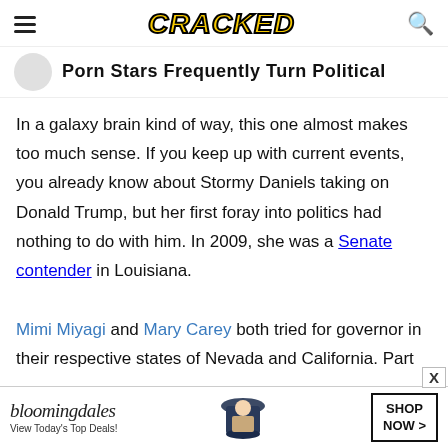CRACKED
Porn Stars Frequently Turn Political
In a galaxy brain kind of way, this one almost makes too much sense. If you keep up with current events, you already know about Stormy Daniels taking on Donald Trump, but her first foray into politics had nothing to do with him. In 2009, she was a Senate contender in Louisiana.

Mimi Miyagi and Mary Carey both tried for governor in their respective states of Nevada and California. Part
[Figure (advertisement): Bloomingdales advertisement with logo, 'View Today's Top Deals!' text, a woman in a wide-brim hat, and a 'SHOP NOW >' button]